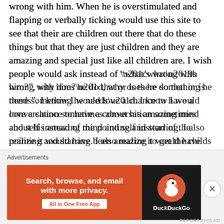wrong with him. When he is overstimulated and flapping or verbally ticking would use this site to see that their are children out there that do these things but that they are just children and they are amazing and special just like all children are. I wish people would ask instead of “what’s wrong with him?”, why does he do that or is there something he needs”. I know I would love a chance to have a conversation sometimes about his amazing mind and self instead of the pointing and starring. I also realize it would have been amazing to get the childs
Advertisements
[Figure (other): DuckDuckGo advertisement banner with orange left panel reading 'Search, browse, and email with more privacy. All in One Free App' and dark right panel with DuckDuckGo duck logo and brand name.]